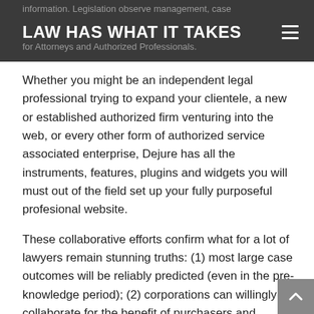information. Legislation observe management, case LAW HAS WHAT IT TAKES ment designed specifically for Attorneys and Authorized Professionals.
Whether you might be an independent legal professional trying to expand your clientele, a new or established authorized firm venturing into the web, or every other form of authorized service associated enterprise, Dejure has all the instruments, features, plugins and widgets you will must out of the field set up your fully purposeful profesional website.
These collaborative efforts confirm what for a lot of lawyers remain stunning truths: (1) most large case outcomes will be reliably predicted (even in the pre-knowledge period); (2) corporations can willingly collaborate for the benefit of purchasers and companies alike; (3) companies can function highly efficiently when their model rewards it; (4) the billable hour just isn't the most worthwhile fee structure the place differentiated talent, process, and expertise is deployed; (5) legal